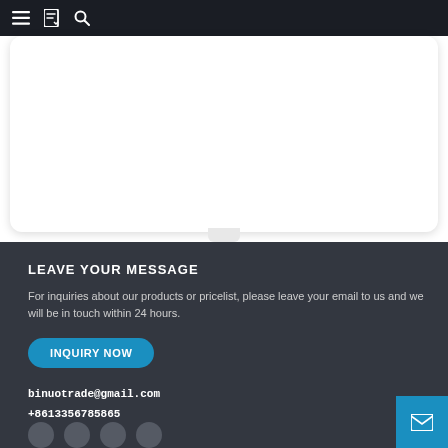Navigation bar with menu, bookmark, and search icons
[Figure (screenshot): White card area showing a content region]
LEAVE YOUR MESSAGE
For inquiries about our products or pricelist, please leave your email to us and we will be in touch within 24 hours.
INQUIRY NOW
binuotrade@gmail.com
+8613356785865